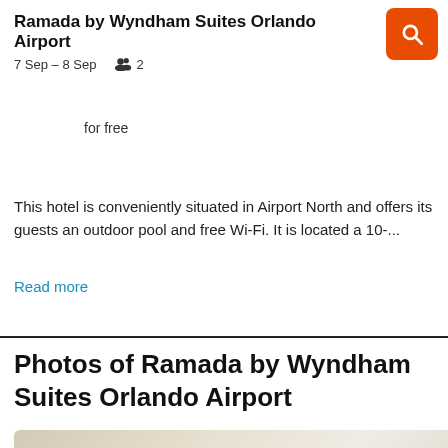Ramada by Wyndham Suites Orlando Airport
7 Sep – 8 Sep    2
for free
This hotel is conveniently situated in Airport North and offers its guests an outdoor pool and free Wi-Fi. It is located a 10-...
Read more
Photos of Ramada by Wyndham Suites Orlando Airport
[Figure (photo): Hotel room photo showing a bed with white bedding and neutral toned walls]